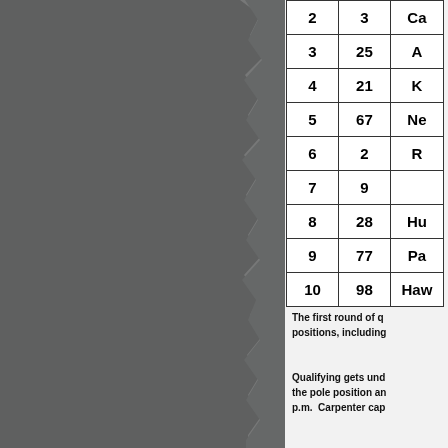[Figure (photo): Gray textured background on the left panel, resembling torn or rough paper]
| # | Points | Name |
| --- | --- | --- |
| 2 | 3 | Ca… |
| 3 | 25 | A… |
| 4 | 21 | … |
| 5 | 67 | Ne… |
| 6 | 2 | … |
| 7 | 9 |  |
| 8 | 28 | Hu… |
| 9 | 77 | Pa… |
| 10 | 98 | Haw… |
The first round of q… positions, including…
Qualifying gets und… the pole position an… p.m. Carpenter cap…